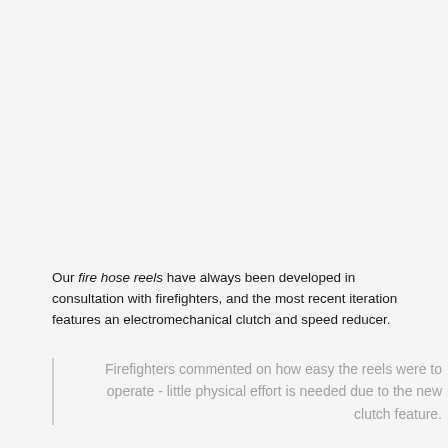Our fire hose reels have always been developed in consultation with firefighters, and the most recent iteration features an electromechanical clutch and speed reducer.
Firefighters commented on how easy the reels were to operate - little physical effort is needed due to the new clutch feature.